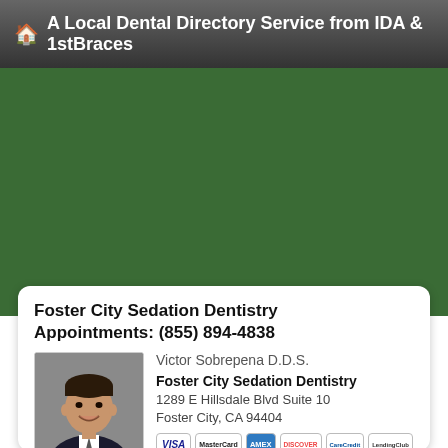A Local Dental Directory Service from IDA & 1stBraces
[Figure (map): Green map area showing local map for Foster City area]
Foster City Sedation Dentistry
Appointments: (855) 894-4838
Victor Sobrepena D.D.S.
[Figure (photo): Portrait photo of Victor Sobrepena D.D.S., a middle-aged man in a suit, smiling]
Foster City Sedation Dentistry
1289 E Hillsdale Blvd Suite 10
Foster City, CA 94404
VISA | MasterCard | Amex | DISCOVER | CareCredit | LendingClub